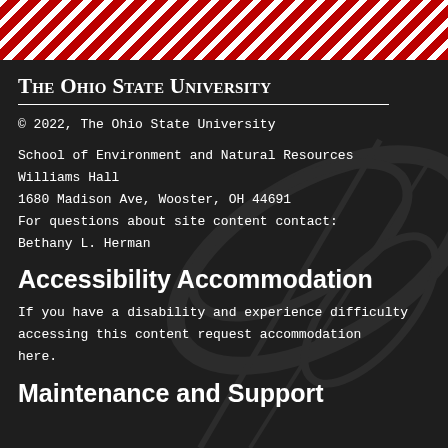[Figure (other): Red and white diagonal stripe banner at top of page]
The Ohio State University
© 2022, The Ohio State University
School of Environment and Natural Resources
Williams Hall
1680 Madison Ave, Wooster, OH 44691
For questions about site content contact:
Bethany L. Herman
Accessibility Accommodation
If you have a disability and experience difficulty accessing this content request accommodation here.
Maintenance and Support